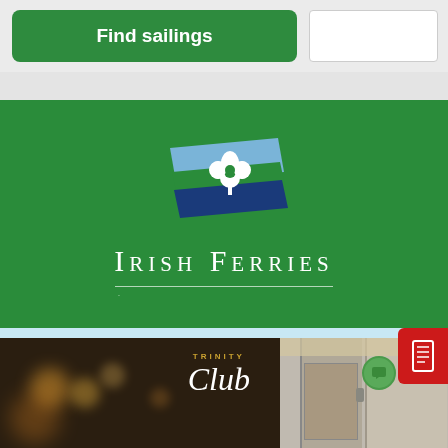[Figure (screenshot): Top navigation bar with green 'Find sailings' button and white input/search box on gray background]
[Figure (logo): Irish Ferries logo on green background: flag emblem with shamrock, text 'IRISH FERRIES' in white small-caps serif font with underline]
[Figure (photo): Bottom section with light blue background, Trinity Club photo on left showing warm bokeh lights, right side showing interior corridor; green chat bubble icon and red ticket/booking icon overlay]